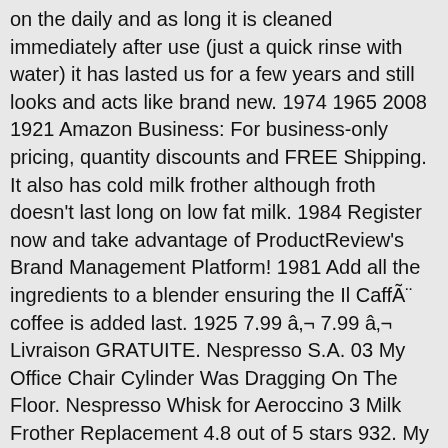on the daily and as long it is cleaned immediately after use (just a quick rinse with water) it has lasted us for a few years and still looks and acts like brand new. 1974 1965 2008 1921 Amazon Business: For business-only pricing, quantity discounts and FREE Shipping. It also has cold milk frother although froth doesn't last long on low fat milk. 1984 Register now and take advantage of ProductReview's Brand Management Platform! 1981 Add all the ingredients to a blender ensuring the Il CaffÃ¨ coffee is added last. 1925 7.99 â‚¬ 7.99 â‚¬ Livraison GRATUITE. Nespresso S.A. 03 My Office Chair Cylinder Was Dragging On The Floor. Nespresso Whisk for Aeroccino 3 Milk Frother Replacement 4.8 out of 5 stars 932. My frother is only 5 weeks old and has stopped frothing! Choose your product. 26 Â£7.00 Vertuo Travel mug. Simple and fast, the Aeroccino frother creates creamy cold or hot froth with the press a button. Amazon.com: NESPRESSO Original Nespresso Aeroccino 3 Frothing Whisk (Original Version): Industrial & Scientific. 1931 1983 4.0 sur 5 Ã©toiles. It is total garbage, so please don't waste your money. Use â‚¬The page continues below...